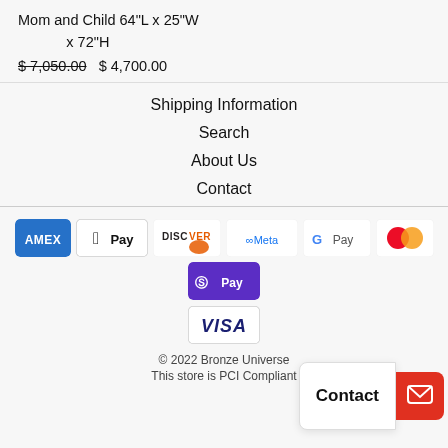Mom and Child 64"L x 25"W x 72"H
$7,050.00  $ 4,700.00
Shipping Information
Search
About Us
Contact
[Figure (other): Payment method icons: American Express, Apple Pay, Discover, Meta Pay, Google Pay, Mastercard, Shop Pay, Visa]
© 2022 Bronze Universe
This store is PCI Compliant